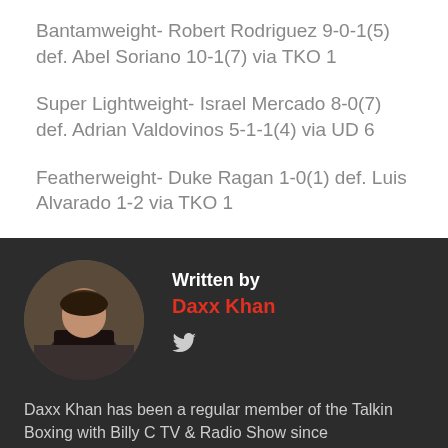Bantamweight- Robert Rodriguez 9-0-1(5) def. Abel Soriano 10-1(7) via TKO 1
Super Lightweight- Israel Mercado 8-0(7) def. Adrian Valdovinos 5-1-1(4) via UD 6
Featherweight- Duke Ragan 1-0(1) def. Luis Alvarado 1-2 via TKO 1
Written by
Daxx Khan
[Figure (photo): Circular avatar photo of Daxx Khan]
Daxx Khan has been a regular member of the Talkin Boxing with Billy C TV & Radio Show since